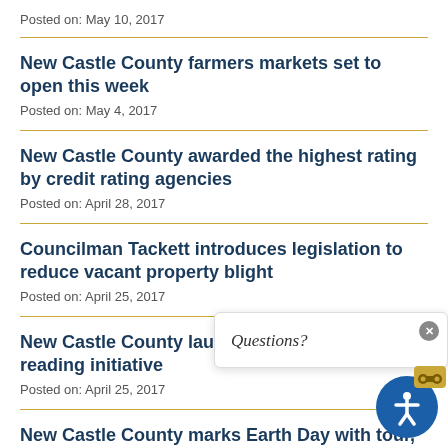Posted on: May 10, 2017
New Castle County farmers markets set to open this week
Posted on: May 4, 2017
New Castle County awarded the highest rating by credit rating agencies
Posted on: April 28, 2017
Councilman Tackett introduces legislation to reduce vacant property blight
Posted on: April 25, 2017
New Castle County launches early childhood reading initiative
Posted on: April 25, 2017
New Castle County marks Earth Day with tour, tree planting at wetland project in